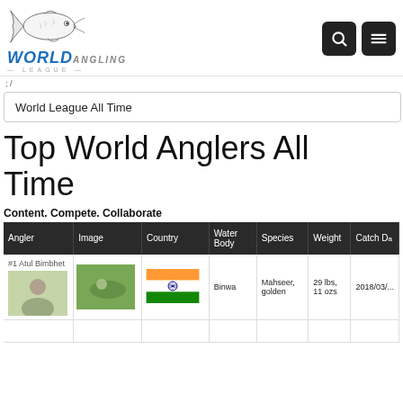World Angling League header with logo and navigation icons
home / World League All Time
World League All Time
Top World Anglers All Time
Content. Compete. Collaborate
| Angler | Image | Country | Water Body | Species | Weight | Catch Da |
| --- | --- | --- | --- | --- | --- | --- |
| #1 Atul Bimbhet | [photo] | [India flag] | Binwa | Mahseer, golden | 29 lbs, 11 ozs | 2018/03/... |
|  |  |  |  |  |  |  |